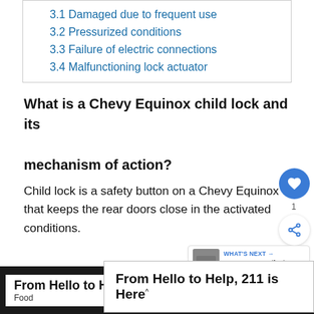3.1 Damaged due to frequent use
3.2 Pressurized conditions
3.3 Failure of electric connections
3.4 Malfunctioning lock actuator
What is a Chevy Equinox child lock and its mechanism of action?
Child lock is a safety button on a Chevy Equinox that keeps the rear doors close in the activated conditions.
From Hello to Help, 211 is Here
From Hello to Help, 211 is Here
Food